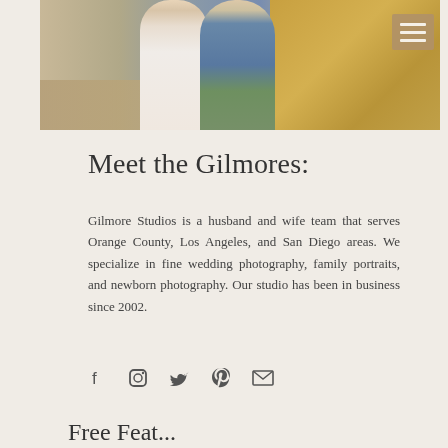[Figure (photo): Couple (husband and wife) standing together outdoors on a wooden path with golden foliage in background. Woman in pink/beige sweater, man in blue shirt and green shorts. Hamburger menu icon in upper right corner.]
Meet the Gilmores:
Gilmore Studios is a husband and wife team that serves Orange County, Los Angeles, and San Diego areas. We specialize in fine wedding photography, family portraits, and newborn photography. Our studio has been in business since 2002.
[Figure (infographic): Social media icons row: Facebook, Instagram, Twitter, Pinterest, Email]
Free Feat...